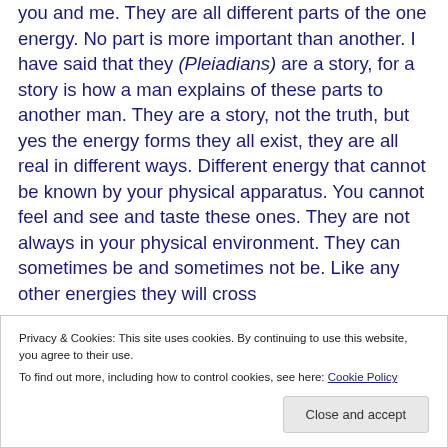you and me. They are all different parts of the one energy. No part is more important than another. I have said that they (Pleiadians) are a story, for a story is how a man explains of these parts to another man. They are a story, not the truth, but yes the energy forms they all exist, they are all real in different ways. Different energy that cannot be known by your physical apparatus. You cannot feel and see and taste these ones. They are not always in your physical environment. They can sometimes be and sometimes not be. Like any other energies they will cross
Privacy & Cookies: This site uses cookies. By continuing to use this website, you agree to their use.
To find out more, including how to control cookies, see here: Cookie Policy